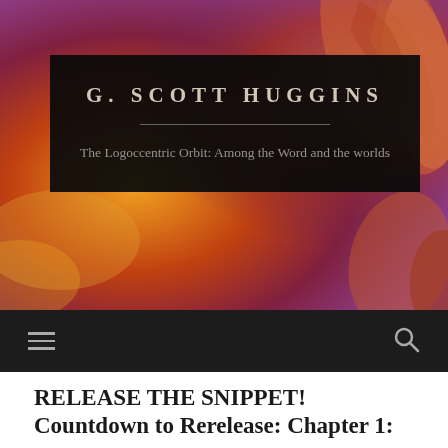[Figure (illustration): Abstract fiery background with warm orange, red, and purple tones with wing or feather-like shapes]
G. SCOTT HUGGINS
The Logoccentric Orbit: Among the Word and the worlds
[Figure (infographic): Dark navigation bar with hamburger menu icon on the left and search icon on the right]
RELEASE THE SNIPPET! Countdown to Rerelease: Chapter 1: